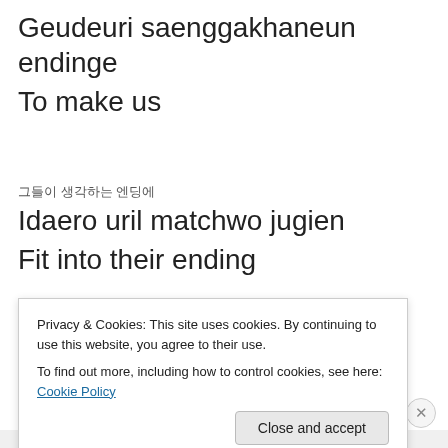Geudeuri saenggakhaneun endinge
To make us
그들이 생각하는 엔딩에
Idaero uril matchwo jugien
Fit into their ending
[Chen]
우우 우우 우우우 woah woah
Privacy & Cookies: This site uses cookies. By continuing to use this website, you agree to their use. To find out more, including how to control cookies, see here: Cookie Policy
Close and accept